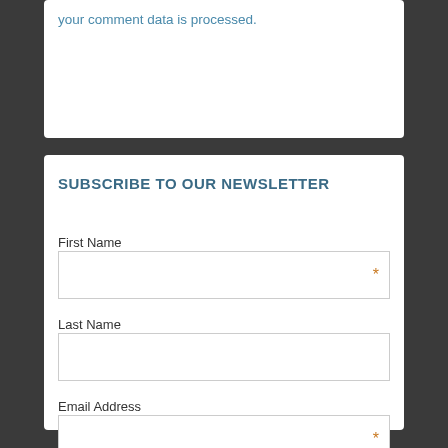your comment data is processed.
SUBSCRIBE TO OUR NEWSLETTER
First Name
Last Name
Email Address
SUBSCRIBE